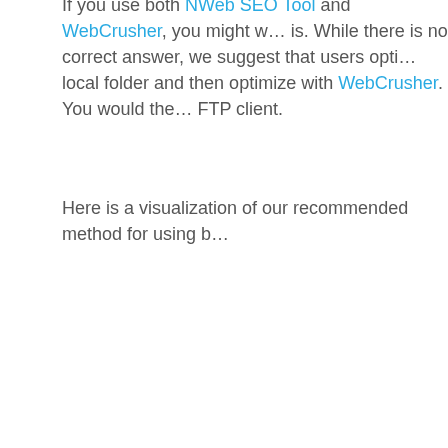If you use both NWeb SEO Tool and WebCrusher, you might wonder which order is. While there is no correct answer, we suggest that users opti... local folder and then optimize with WebCrusher. You would the... FTP client.
Here is a visualization of our recommended method for using b...